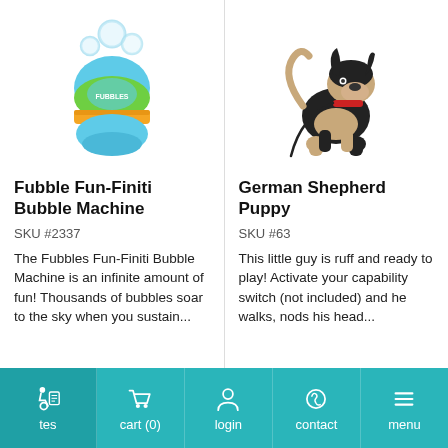[Figure (photo): Fubble Fun-Finiti Bubble Machine product photo: blue and green bubble machine with bubbles floating above it]
Fubble Fun-Finiti Bubble Machine
SKU #2337
The Fubbles Fun-Finiti Bubble Machine is an infinite amount of fun! Thousands of bubbles soar to the sky when you sustain...
[Figure (photo): German Shepherd Puppy stuffed animal / robotic toy dog with black and tan coloring and red collar]
German Shepherd Puppy
SKU #63
This little guy is ruff and ready to play! Activate your capability switch (not included) and he walks, nods his head...
tes  cart (0)  login  contact  menu